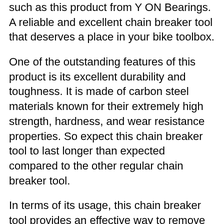such as this product from Y ON Bearings. A reliable and excellent chain breaker tool that deserves a place in your bike toolbox.
One of the outstanding features of this product is its excellent durability and toughness. It is made of carbon steel materials known for their extremely high strength, hardness, and wear resistance properties. So expect this chain breaker tool to last longer than expected compared to the other regular chain breaker tool.
In terms of its usage, this chain breaker tool provides an effective way to remove or reinstall the chain link. It is so simple to use that it allows for excellent leverage to break the chain without making too much effort. The chain was so easy to align, and the overall process was so straightforward. Definitely the go-to when you need